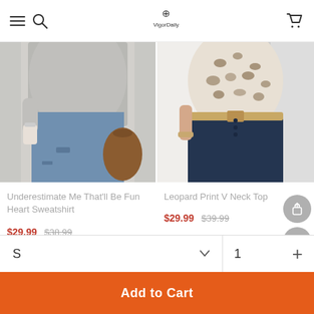VigorDaly header with hamburger menu, search, logo, and cart
[Figure (photo): Product photo of a woman wearing a gray heart sweatshirt with ripped jeans and a brown bag]
Underestimate Me That'll Be Fun Heart Sweatshirt
$29.99  $38.99
[Figure (photo): Product photo of a woman wearing a leopard print V neck top with dark jeans]
Leopard Print V Neck Top
$29.99  $39.99
S
1
Add to Cart